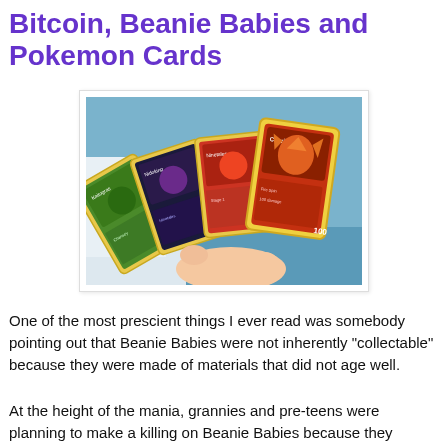Bitcoin, Beanie Babies and Pokemon Cards
[Figure (photo): A hand holding four fanned-out Pokemon cards including Chansey, Nidoking, Ninetales, and Charizard]
One of the most prescient things I ever read was somebody pointing out that Beanie Babies were not inherently "collectable" because they were made of materials that did not age well.
At the height of the mania, grannies and pre-teens were planning to make a killing on Beanie Babies because they